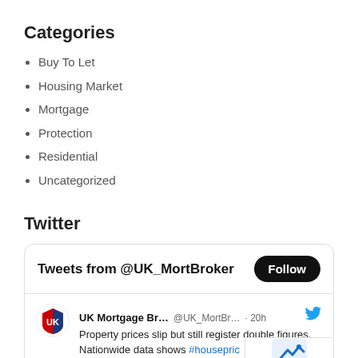Categories
Buy To Let
Housing Market
Mortgage
Protection
Residential
Uncategorized
Twitter
[Figure (screenshot): Twitter widget showing Tweets from @UK_MortBroker with a Follow button. A tweet from UK Mortgage Br... @UK_MortBr... · 20h reads: Property prices slip but still register double figures, Nationwide data shows #housepric #propertymarket bit.ly/3O7apqL]